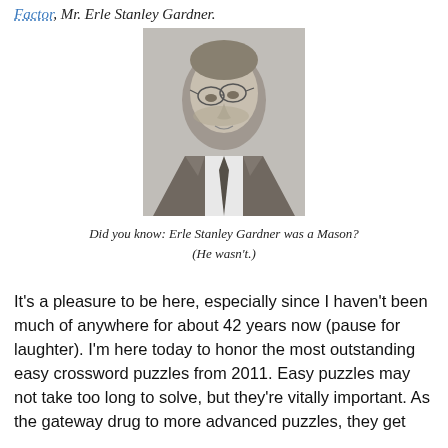Factor, Mr. Erle Stanley Gardner.
[Figure (photo): Black and white photograph of Erle Stanley Gardner, an older man wearing glasses and a suit with a tie, looking downward.]
Did you know: Erle Stanley Gardner was a Mason?
(He wasn't.)
It's a pleasure to be here, especially since I haven't been much of anywhere for about 42 years now (pause for laughter). I'm here today to honor the most outstanding easy crossword puzzles from 2011. Easy puzzles may not take too long to solve, but they're vitally important. As the gateway drug to more advanced puzzles, they get